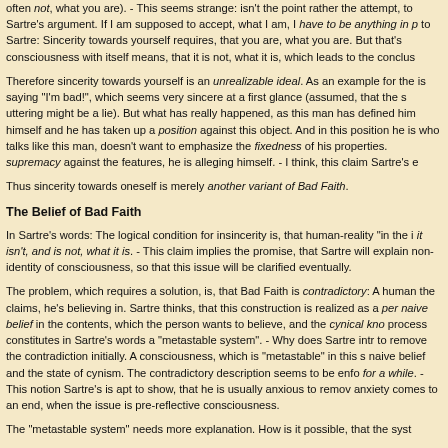often not, what you are). - This seems strange: isn't the point rather the attempt, to Sartre's argument. If I am supposed to accept, what I am, I have to be anything in p to Sartre: Sincerity towards yourself requires, that you are, what you are. But that's consciousness with itself means, that it is not, what it is, which leads to the conclus
Therefore sincerity towards yourself is an unrealizable ideal. As an example for the is saying "I'm bad!", which seems very sincere at a first glance (assumed, that the s uttering might be a lie). But what has really happened, as this man has defined him himself and he has taken up a position against this object. And in this position he is who talks like this man, doesn't want to emphasize the fixedness of his properties. supremacy against the features, he is alleging himself. - I think, this claim Sartre's e
Thus sincerity towards oneself is merely another variant of Bad Faith.
The Belief of Bad Faith
In Sartre's words: The logical condition for insincerity is, that human-reality "in the i it isn't, and is not, what it is. - This claim implies the promise, that Sartre will explain non-identity of consciousness, so that this issue will be clarified eventually.
The problem, which requires a solution, is, that Bad Faith is contradictory: A human the claims, he's believing in. Sartre thinks, that this construction is realized as a per naive belief in the contents, which the person wants to believe, and the cynical kno process constitutes in Sartre's words a "metastable system". - Why does Sartre intr to remove the contradiction initially. A consciousness, which is "metastable" in this s naive belief and the state of cynism. The contradictory description seems to be enfo for a while. - This notion Sartre's is apt to show, that he is usually anxious to remov anxiety comes to an end, when the issue is pre-reflective consciousness.
The "metastable system" needs more explanation. How is it possible, that the syst